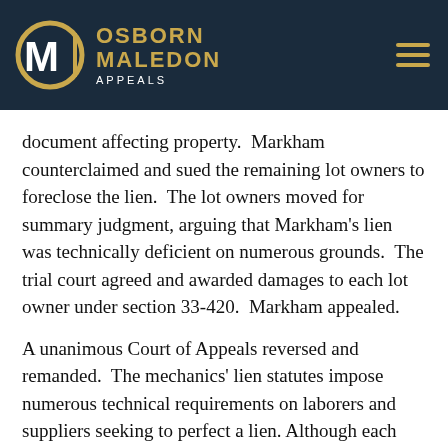OSBORN MALEDON APPEALS
document affecting property.  Markham counterclaimed and sued the remaining lot owners to foreclose the lien.  The lot owners moved for summary judgment, arguing that Markham’s lien was technically deficient on numerous grounds.  The trial court agreed and awarded damages to each lot owner under section 33-420.  Markham appealed.
A unanimous Court of Appeals reversed and remanded.  The mechanics’ lien statutes impose numerous technical requirements on laborers and suppliers seeking to perfect a lien. Although each “statutory step” must be followed, a laborer need only meet a test of “substantial compliance with any particular step.”  The lot owners